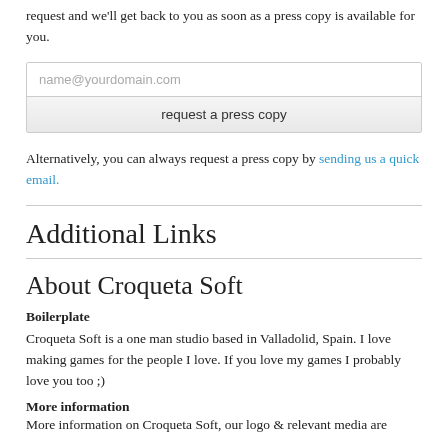request and we'll get back to you as soon as a press copy is available for you.
name@yourdomain.com
request a press copy
Alternatively, you can always request a press copy by sending us a quick email.
Additional Links
About Croqueta Soft
Boilerplate
Croqueta Soft is a one man studio based in Valladolid, Spain. I love making games for the people I love. If you love my games I probably love you too ;)
More information
More information on Croqueta Soft, our logo & relevant media are